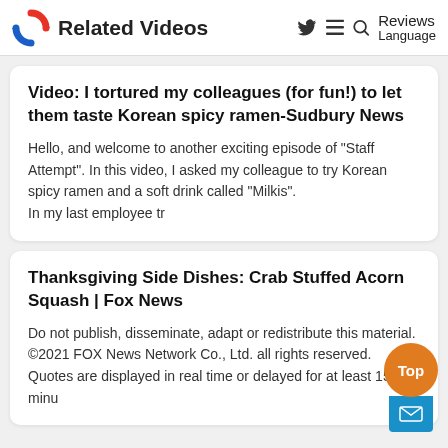Related Videos   Reviews Language
Video: I tortured my colleagues (for fun!) to let them taste Korean spicy ramen-Sudbury News
Hello, and welcome to another exciting episode of "Staff Attempt". In this video, I asked my colleague to try Korean spicy ramen and a soft drink called "Milkis".
In my last employee tr
Thanksgiving Side Dishes: Crab Stuffed Acorn Squash | Fox News
Do not publish, disseminate, adapt or redistribute this material. ©2021 FOX News Network Co., Ltd. all rights reserved. Quotes are displayed in real time or delayed for at least 15 minu